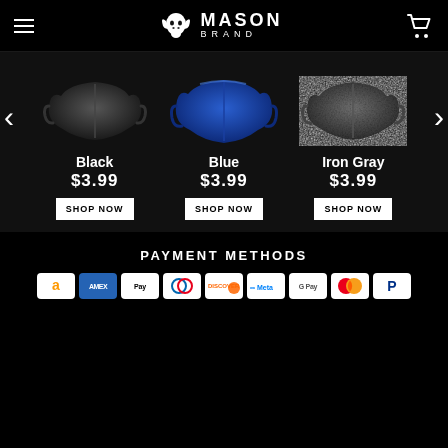Mason Brand
[Figure (illustration): Three face masks displayed side by side: Black mask, Blue mask, Iron Gray mask, each priced at $3.99 with a SHOP NOW button. Left and right navigation arrows visible.]
Black
$3.99
SHOP NOW
Blue
$3.99
SHOP NOW
Iron Gray
$3.99
SHOP NOW
PAYMENT METHODS
[Figure (illustration): Payment method icons: Amazon, Amex, Apple Pay, Diners Club, Discover, Meta Pay, Google Pay, Mastercard, PayPal]